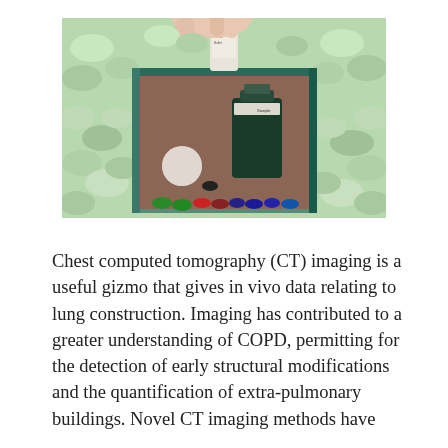[Figure (photo): A photograph showing a hand holding a small vial/bottle over a teal/green box containing foam packing peanuts. Inside the box are several small bottles and colored caps (green, red, blue). The surrounding area is filled with light green foam packing peanuts.]
Chest computed tomography (CT) imaging is a useful gizmo that gives in vivo data relating to lung construction. Imaging has contributed to a greater understanding of COPD, permitting for the detection of early structural modifications and the quantification of extra-pulmonary buildings. Novel CT imaging methods have